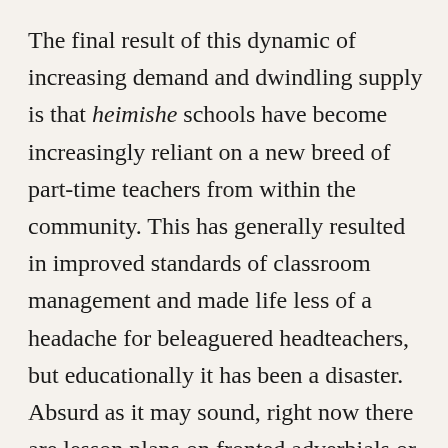The final result of this dynamic of increasing demand and dwindling supply is that heimishe schools have become increasingly reliant on a new breed of part-time teachers from within the community. This has generally resulted in improved standards of classroom management and made life less of a headache for beleaguered headteachers, but educationally it has been a disaster. Absurd as it may sound, right now there are lesson plans on fronted adverbials or free verse drawn up by highly paid consultants being delivered by Yiddish speaking Israeli immigrants who want a bit of extra cash to supplement their